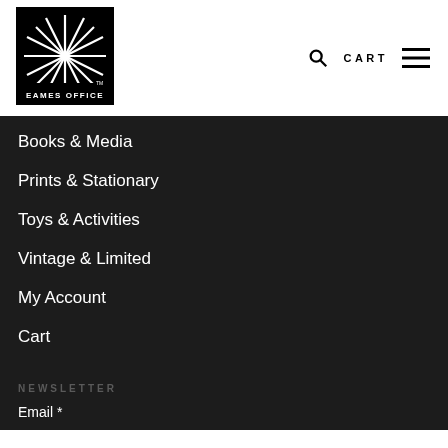[Figure (logo): Eames Office sunburst logo with text EAMES OFFICE below it, black and white]
CART
Books & Media
Prints & Stationary
Toys & Activities
Vintage & Limited
My Account
Cart
NEWSLETTER
Email *